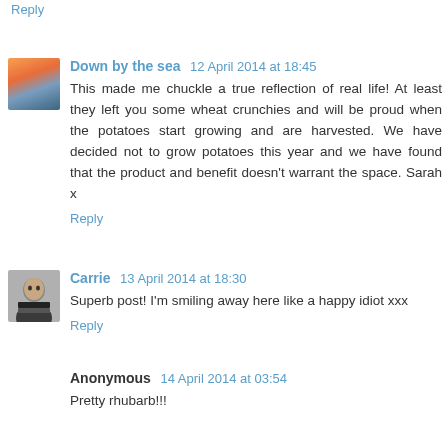Reply
Down by the sea  12 April 2014 at 18:45
This made me chuckle a true reflection of real life! At least they left you some wheat crunchies and will be proud when the potatoes start growing and are harvested. We have decided not to grow potatoes this year and we have found that the product and benefit doesn't warrant the space. Sarah x
Reply
Carrie  13 April 2014 at 18:30
Superb post! I'm smiling away here like a happy idiot xxx
Reply
Anonymous  14 April 2014 at 03:54
Pretty rhubarb!!!